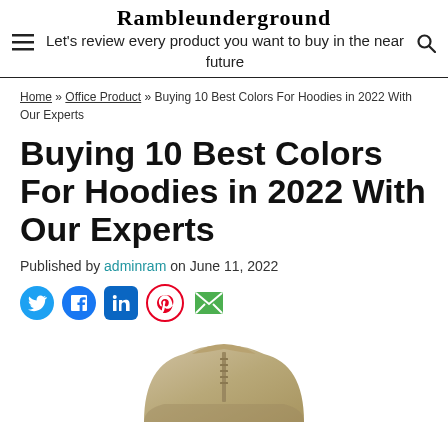Rambleunderground
Let's review every product you want to buy in the near future
Home » Office Product » Buying 10 Best Colors For Hoodies in 2022 With Our Experts
Buying 10 Best Colors For Hoodies in 2022 With Our Experts
Published by adminram on June 11, 2022
[Figure (other): Social media share icons: Twitter, Facebook, LinkedIn, Pinterest, Email]
[Figure (photo): Partial photo of a khaki/beige hoodie from above]